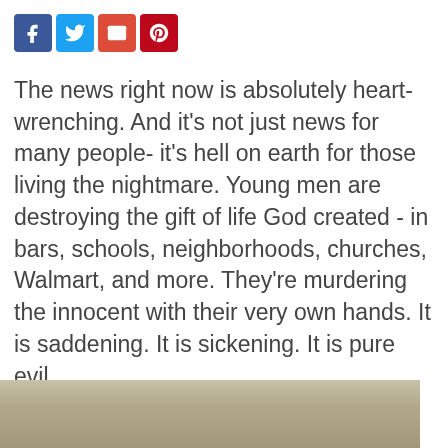[Figure (infographic): Social media sharing icons: Facebook (blue), Twitter (light blue), Email (red/orange), Pinterest (dark red)]
The news right now is absolutely heart-wrenching. And it's not just news for many people- it's hell on earth for those living the nightmare. Young men are destroying the gift of life God created - in bars, schools, neighborhoods, churches, Walmart, and more. They're murdering the innocent with their very own hands. It is saddening. It is sickening. It is pure evil.
[Figure (photo): Partial photo at bottom of page, showing a muted sandy/taupe landscape or background]